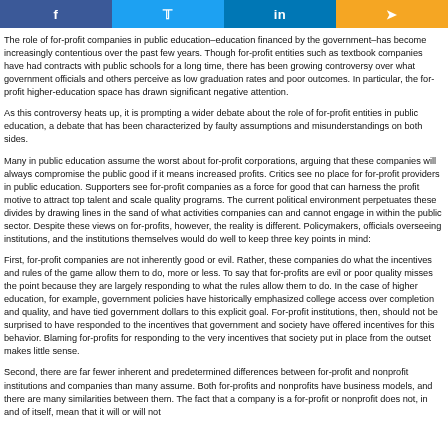[Figure (other): Social sharing buttons: Facebook, Twitter, LinkedIn, Share (orange)]
The role of for-profit companies in public education–education financed by the government–has become increasingly contentious over the past few years. Though for-profit entities such as textbook companies have had contracts with public schools for a long time, there has been growing controversy over what government officials and others perceive as low graduation rates and poor outcomes. In particular, the for-profit higher-education space has drawn significant negative attention.
As this controversy heats up, it is prompting a wider debate about the role of for-profit entities in public education, a debate that has been characterized by faulty assumptions and misunderstandings on both sides.
Many in public education assume the worst about for-profit corporations, arguing that these companies will always compromise the public good if it means increased profits. Critics see no place for for-profit providers in public education. Supporters see for-profit companies as a force for good that can harness the profit motive to attract top talent and scale quality programs. The current political environment perpetuates these divides by drawing lines in the sand of what activities companies can and cannot engage in within the public sector. Despite these views on for-profits, however, the reality is different. Policymakers, officials overseeing institutions, and the institutions themselves would do well to keep three key points in mind:
First, for-profit companies are not inherently good or evil. Rather, these companies do what the incentives and rules of the game allow them to do, more or less. To say that for-profits are evil or poor quality misses the point because they are largely responding to what the rules allow them to do. In the case of higher education, for example, government policies have historically emphasized college access over completion and quality, and have tied government dollars to this explicit goal. For-profit institutions, then, should not be surprised to have responded to the incentives that government and society have offered incentives for this behavior. Blaming for-profits for responding to the very incentives that society put in place from the outset makes little sense.
Second, there are far fewer inherent and predetermined differences between for-profit and nonprofit institutions and companies than many assume. Both for-profits and nonprofits have business models, and there are many similarities between them. The fact that a company is a for-profit or nonprofit does not, in and of itself, mean that it will or will not